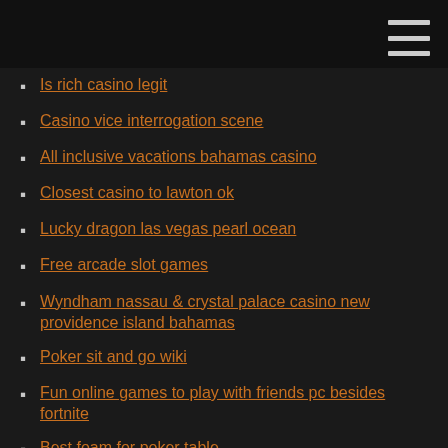Is rich casino legit
Casino vice interrogation scene
All inclusive vacations bahamas casino
Closest casino to lawton ok
Lucky dragon las vegas pearl ocean
Free arcade slot games
Wyndham nassau & crystal palace casino new providence island bahamas
Poker sit and go wiki
Fun online games to play with friends pc besides fortnite
Best foam for poker table
When is twin rivers poker room opening
Hippodrome online casino withdrawal time